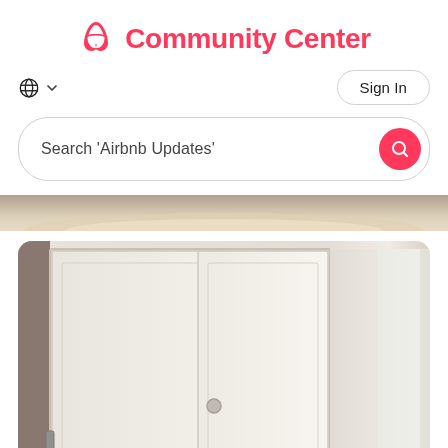Community Center
Sign In
Search 'Airbnb Updates'
[Figure (photo): Partial view of a bed with white/cream pillows and bedding, cropped at top]
[Figure (photo): Interior photo of a bedroom closet with white sliding doors, one door open revealing wooden hangers on a hanging rod and a fabric shelving organizer on the right side]